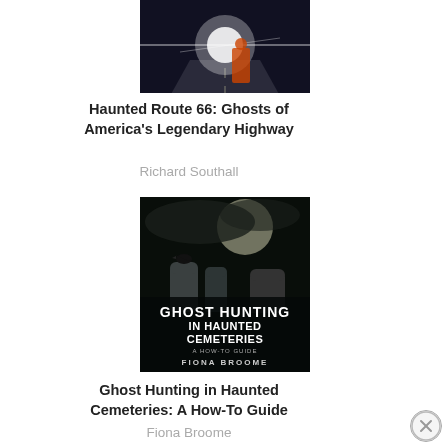[Figure (illustration): Partially visible book cover for 'Haunted Route 66: Ghosts of America's Legendary Highway' — dark image with light flare and figure on a highway at night]
Haunted Route 66: Ghosts of America's Legendary Highway
Richard Southall
[Figure (illustration): Book cover for 'Ghost Hunting in Haunted Cemeteries: A How-To Guide' by Fiona Broome — dark cemetery scene with crow on gravestone, large moon, text overlay]
Ghost Hunting in Haunted Cemeteries: A How-To Guide
Fiona Broome
[Figure (illustration): Partially visible bottom book cover by Michael Norman, title appears to say 'Haunted' — dark dramatic sky with silhouette]